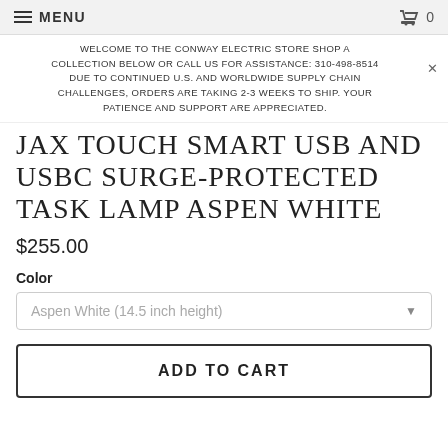MENU  🛒 0
WELCOME TO THE CONWAY ELECTRIC STORE SHOP A COLLECTION BELOW OR CALL US FOR ASSISTANCE: 310-498-8514 DUE TO CONTINUED U.S. AND WORLDWIDE SUPPLY CHAIN CHALLENGES, ORDERS ARE TAKING 2-3 WEEKS TO SHIP. YOUR PATIENCE AND SUPPORT ARE APPRECIATED.
JAX TOUCH SMART USB AND USBC SURGE-PROTECTED TASK LAMP ASPEN WHITE
$255.00
Color
Aspen White (14.5 inch height)
ADD TO CART